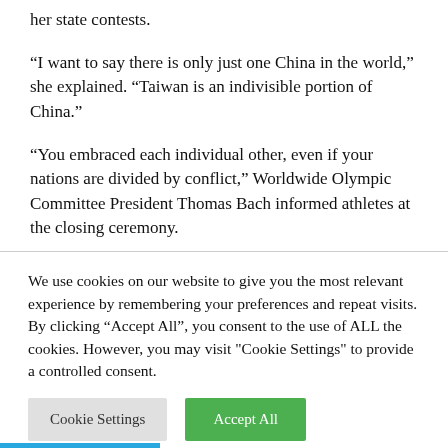her state contests.
“I want to say there is only just one China in the world,” she explained. “Taiwan is an indivisible portion of China.”
“You embraced each individual other, even if your nations are divided by conflict,” Worldwide Olympic Committee President Thomas Bach informed athletes at the closing ceremony.
We use cookies on our website to give you the most relevant experience by remembering your preferences and repeat visits. By clicking “Accept All”, you consent to the use of ALL the cookies. However, you may visit "Cookie Settings" to provide a controlled consent.